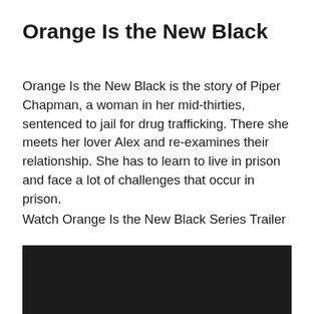Orange Is the New Black
Orange Is the New Black is the story of Piper Chapman, a woman in her mid-thirties, sentenced to jail for drug trafficking. There she meets her lover Alex and re-examines their relationship. She has to learn to live in prison and face a lot of challenges that occur in prison.
Watch Orange Is the New Black Series Trailer
[Figure (screenshot): Dark/black video thumbnail placeholder for the Orange Is the New Black series trailer]